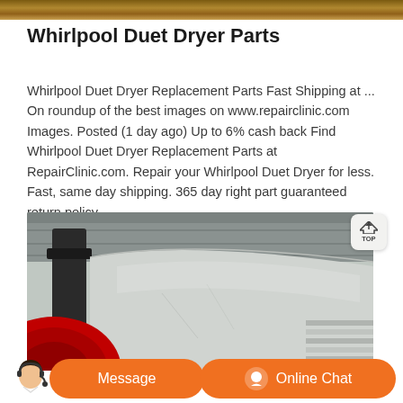[Figure (photo): Top partial image showing brownish/earthy toned surface, cropped at top of page]
Whirlpool Duet Dryer Parts
Whirlpool Duet Dryer Replacement Parts Fast Shipping at ... On roundup of the best images on www.repairclinic.com Images. Posted (1 day ago) Up to 6% cash back Find Whirlpool Duet Dryer Replacement Parts at RepairClinic.com. Repair your Whirlpool Duet Dryer for less. Fast, same day shipping. 365 day right part guaranteed return policy.
[Figure (photo): Industrial photo showing a large cylindrical drum or vessel (appears grey/white) with a red machine component on the left side and structural ceiling elements visible above, taken inside an industrial facility]
[Figure (photo): Message and Online Chat buttons with a customer service agent in the bottom bar; orange pill-shaped buttons]